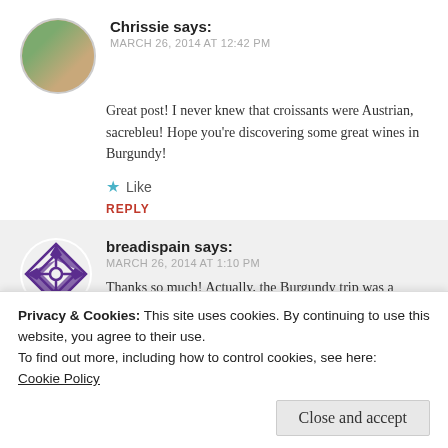Chrissie says: MARCH 26, 2014 AT 12:42 PM
Great post! I never knew that croissants were Austrian, sacrebleu! Hope you're discovering some great wines in Burgundy!
Like
REPLY
[Figure (logo): breadispain logo - purple geometric diamond/cross pattern]
breadispain says: MARCH 26, 2014 AT 1:10 PM
Thanks so much! Actually, the Burgundy trip was a while back but oh yes, we drank so much yummy stuff! That is definitely my favorite
Privacy & Cookies: This site uses cookies. By continuing to use this website, you agree to their use.
To find out more, including how to control cookies, see here: Cookie Policy
Close and accept